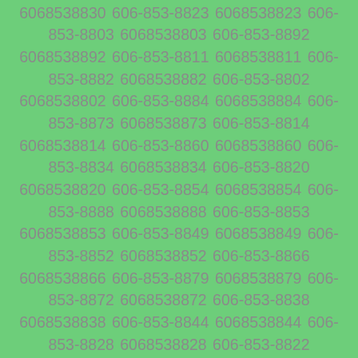6068538862 606-853-8848 6068538848 606-853-8864 6068538864 606-853-8830 6068538830 606-853-8823 6068538823 606-853-8803 6068538803 606-853-8892 6068538892 606-853-8811 6068538811 606-853-8882 6068538882 606-853-8802 6068538802 606-853-8884 6068538884 606-853-8873 6068538873 606-853-8814 6068538814 606-853-8860 6068538860 606-853-8834 6068538834 606-853-8820 6068538820 606-853-8854 6068538854 606-853-8888 6068538888 606-853-8853 6068538853 606-853-8849 6068538849 606-853-8852 6068538852 606-853-8866 6068538866 606-853-8879 6068538879 606-853-8872 6068538872 606-853-8838 6068538838 606-853-8844 6068538844 606-853-8828 6068538828 606-853-8822 6068538822 606-853-8859 6068538859 606-853-8890 6068538890 606-853-8893